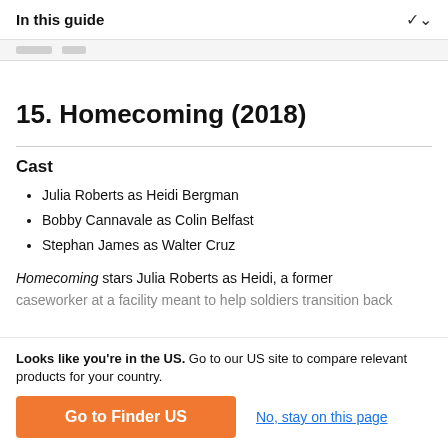In this guide
15. Homecoming (2018)
Cast
Julia Roberts as Heidi Bergman
Bobby Cannavale as Colin Belfast
Stephan James as Walter Cruz
Homecoming stars Julia Roberts as Heidi, a former caseworker at a facility meant to help soldiers transition back
Looks like you're in the US. Go to our US site to compare relevant products for your country.
Go to Finder US
No, stay on this page